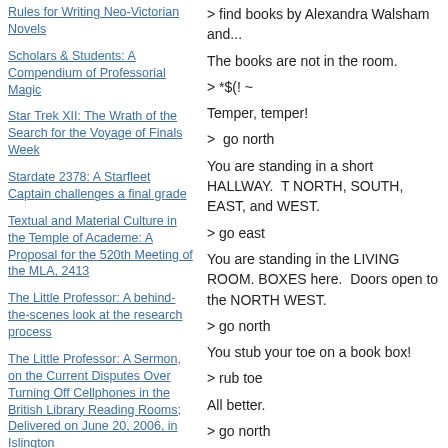Rules for Writing Neo-Victorian Novels
Scholars & Students: A Compendium of Professorial Magic
Star Trek XII: The Wrath of the Search for the Voyage of Finals Week
Stardate 2378: A Starfleet Captain challenges a final grade
Textual and Material Culture in the Temple of Academe: A Proposal for the 520th Meeting of the MLA, 2413
The Little Professor: A behind-the-scenes look at the research process
The Little Professor: A Sermon, on the Current Disputes Over Turning Off Cellphones in the British Library Reading Rooms; Delivered on June 20, 2006, in Islington
The Little Professor: Victorian religious novel liveblogging, JFK layover edition: Truth without Fiction, and Religion without Disguise
The Little Professor: Victorian religious novel liveblogging, MLA
find books by Alexandra Walsham and...
The books are not in the room.
> *$(! ~
Temper, temper!
>  go north
You are standing in a short HALLWAY.  T NORTH, SOUTH, EAST, and WEST.
> go east
You are standing in the LIVING ROOM. BOXES here.  Doors open to the NORTH WEST.
> go north
You stub your toe on a book box!
> rub toe
All better.
> go north
You are in the LIBRARY.  It contains man